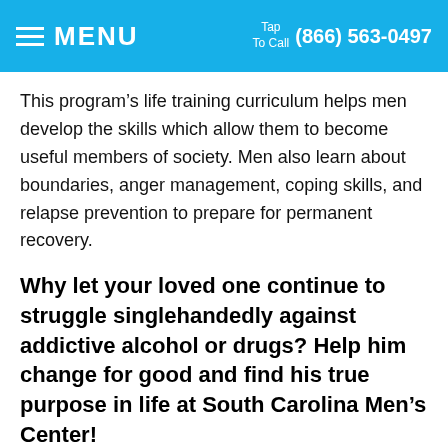MENU  Tap To Call (866) 563-0497
This program’s life training curriculum helps men develop the skills which allow them to become useful members of society. Men also learn about boundaries, anger management, coping skills, and relapse prevention to prepare for permanent recovery.
Why let your loved one continue to struggle singlehandedly against addictive alcohol or drugs? Help him change for good and find his true purpose in life at South Carolina Men’s Center!
Nobody can change on their own. Addicted men learn to place their faith in God, and receive the spiritual transformation that comes through a personal relationship with Jesus Christ. Through the Christian drug rehab at